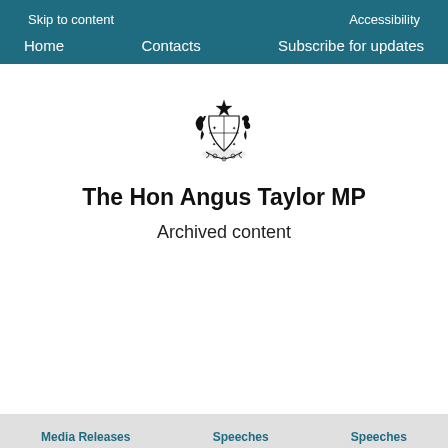Skip to content | Accessibility | Home | Contacts | Subscribe for updates
[Figure (logo): Australian Government coat of arms crest]
The Hon Angus Taylor MP
Archived content
Media Releases | Speeches | Speeches